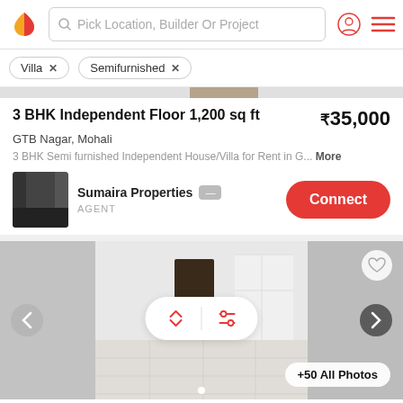Pick Location, Builder Or Project
Villa ×
Semifurnished ×
3 BHK Independent Floor 1,200 sq ft
₹35,000
GTB Nagar, Mohali
3 BHK Semi furnished Independent House/Villa for Rent in G... More
Sumaira Properties AGENT Connect
[Figure (photo): Interior room photo of an Independent House/Villa showing tiled floor and white walls with dark door]
+50 All Photos